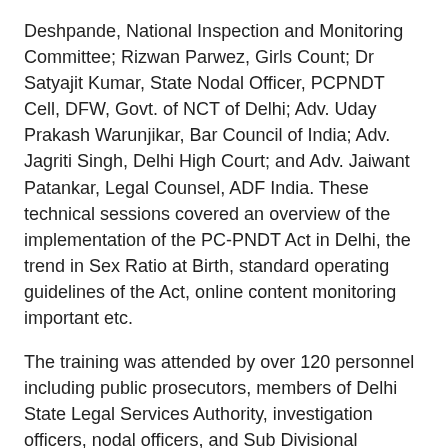Deshpande, National Inspection and Monitoring Committee; Rizwan Parwez, Girls Count; Dr Satyajit Kumar, State Nodal Officer, PCPNDT Cell, DFW, Govt. of NCT of Delhi; Adv. Uday Prakash Warunjikar, Bar Council of India; Adv. Jagriti Singh, Delhi High Court; and Adv. Jaiwant Patankar, Legal Counsel, ADF India. These technical sessions covered an overview of the implementation of the PC-PNDT Act in Delhi, the trend in Sex Ratio at Birth, standard operating guidelines of the Act, online content monitoring important etc.
The training was attended by over 120 personnel including public prosecutors, members of Delhi State Legal Services Authority, investigation officers, nodal officers, and Sub Divisional Magistrates.
SUPPORT
We invite you to join us in our efforts to eradicate sex-